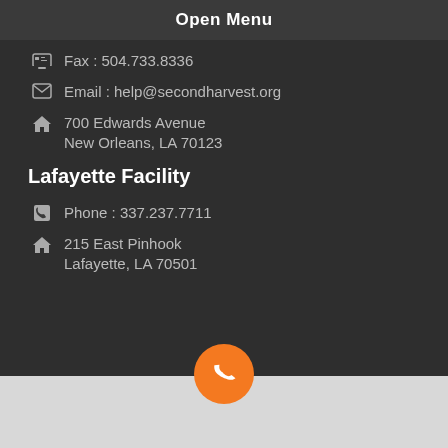Open Menu
Fax : 504.733.8336
Email : help@secondharvest.org
700 Edwards Avenue
New Orleans, LA 70123
Lafayette Facility
Phone : 337.237.7711
215 East Pinhook
Lafayette, LA 70501
[Figure (other): Orange circular call button floating above a map area]